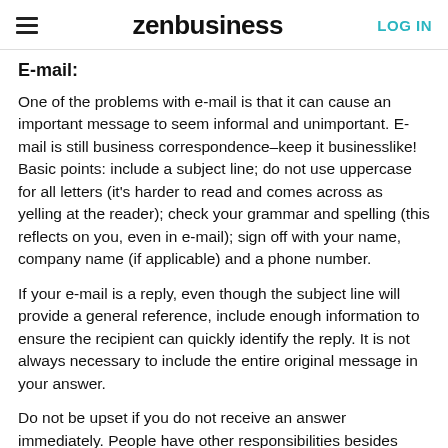zenbusiness  LOG IN
E-mail:
One of the problems with e-mail is that it can cause an important message to seem informal and unimportant. E-mail is still business correspondence–keep it businesslike! Basic points: include a subject line; do not use uppercase for all letters (it's harder to read and comes across as yelling at the reader); check your grammar and spelling (this reflects on you, even in e-mail); sign off with your name, company name (if applicable) and a phone number.
If your e-mail is a reply, even though the subject line will provide a general reference, include enough information to ensure the recipient can quickly identify the reply. It is not always necessary to include the entire original message in your answer.
Do not be upset if you do not receive an answer immediately. People have other responsibilities besides reading e-mail. If you require an immediate response, it